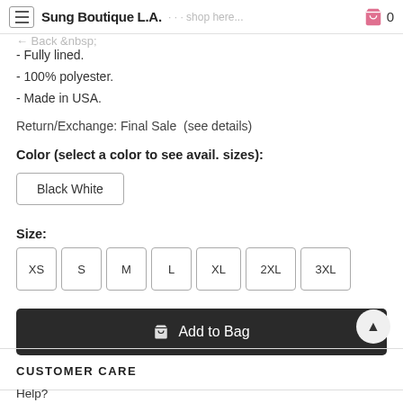Sung Boutique L.A.
- Fully lined.
- 100% polyester.
- Made in USA.
Return/Exchange: Final Sale  (see details)
Color (select a color to see avail. sizes):
Black White
Size:
XS  S  M  L  XL  2XL  3XL
Add to Bag
CUSTOMER CARE
Help?